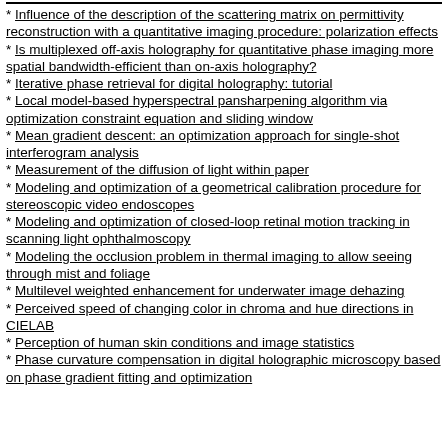Influence of the description of the scattering matrix on permittivity reconstruction with a quantitative imaging procedure: polarization effects
Is multiplexed off-axis holography for quantitative phase imaging more spatial bandwidth-efficient than on-axis holography?
Iterative phase retrieval for digital holography: tutorial
Local model-based hyperspectral pansharpening algorithm via optimization constraint equation and sliding window
Mean gradient descent: an optimization approach for single-shot interferogram analysis
Measurement of the diffusion of light within paper
Modeling and optimization of a geometrical calibration procedure for stereoscopic video endoscopes
Modeling and optimization of closed-loop retinal motion tracking in scanning light ophthalmoscopy
Modeling the occlusion problem in thermal imaging to allow seeing through mist and foliage
Multilevel weighted enhancement for underwater image dehazing
Perceived speed of changing color in chroma and hue directions in CIELAB
Perception of human skin conditions and image statistics
Phase curvature compensation in digital holographic microscopy based on phase gradient fitting and optimization